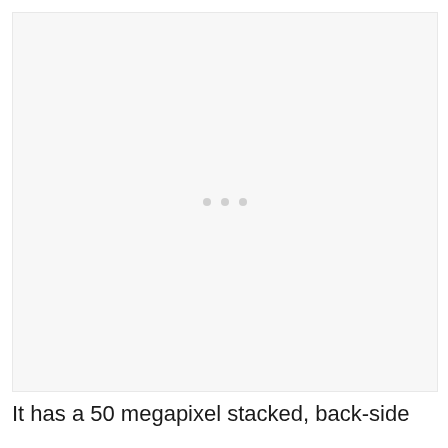[Figure (photo): Large light gray/white image placeholder area with three small gray dots centered in the middle, suggesting an image loading indicator or blank image region.]
It has a 50 megapixel stacked, back-side